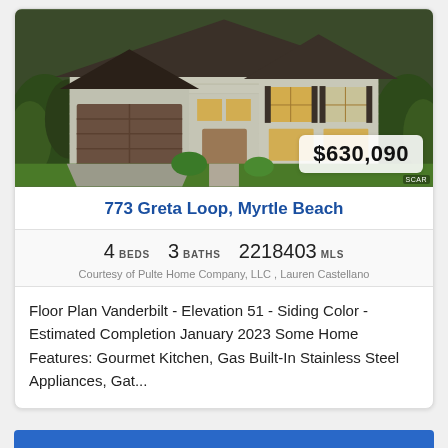[Figure (photo): Exterior photo of a two-story residential home with gray siding, dark shutters, two-car garage, landscaping, and warm interior lights visible through windows. Price badge showing $630,090 overlaid at bottom right.]
773 Greta Loop, Myrtle Beach
4 BEDS   3 BATHS   2218403 MLS
Courtesy of Pulte Home Company, LLC , Lauren Castellano
Floor Plan Vanderbilt - Elevation 51 - Siding Color - Estimated Completion January 2023 Some Home Features: Gourmet Kitchen, Gas Built-In Stainless Steel Appliances, Gat...